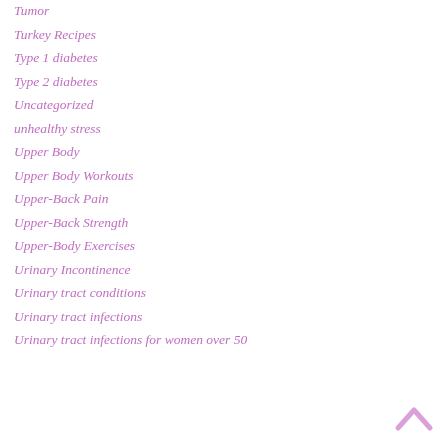Tumor
Turkey Recipes
Type 1 diabetes
Type 2 diabetes
Uncategorized
unhealthy stress
Upper Body
Upper Body Workouts
Upper-Back Pain
Upper-Back Strength
Upper-Body Exercises
Urinary Incontinence
Urinary tract conditions
Urinary tract infections
Urinary tract infections for women over 50